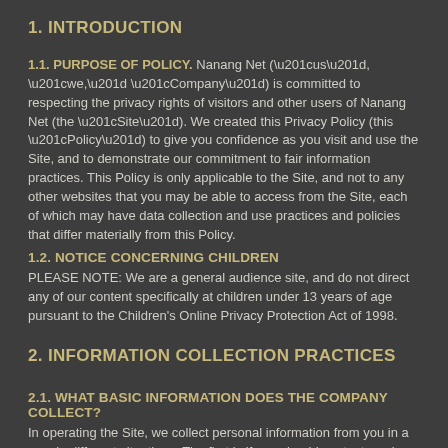1. INTRODUCTION
1.1. PURPOSE OF POLICY. Nanang Net (“us”, “we,” “Company”) is committed to respecting the privacy rights of visitors and other users of Nanang Net (the “Site”). We created this Privacy Policy (this “Policy”) to give you confidence as you visit and use the Site, and to demonstrate our commitment to fair information practices. This Policy is only applicable to the Site, and not to any other websites that you may be able to access from the Site, each of which may have data collection and use practices and policies that differ materially from this Policy.
1.2. NOTICE CONCERNING CHILDREN
PLEASE NOTE: We are a general audience site, and do not direct any of our content specifically at children under 13 years of age pursuant to the Children's Online Privacy Protection Act of 1998.
2. INFORMATION COLLECTION PRACTICES
2.1. WHAT BASIC INFORMATION DOES THE COMPANY COLLECT?
In operating the Site, we collect personal information from you in a couple different situations. The first is if you should contact us via the “contact” page. In doing so, you will provide us with your name and